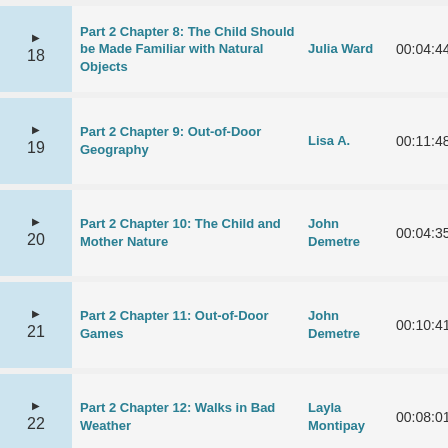18 | Part 2 Chapter 8: The Child Should be Made Familiar with Natural Objects | Julia Ward | 00:04:44
19 | Part 2 Chapter 9: Out-of-Door Geography | Lisa A. | 00:11:48
20 | Part 2 Chapter 10: The Child and Mother Nature | John Demetre | 00:04:35
21 | Part 2 Chapter 11: Out-of-Door Games | John Demetre | 00:10:41
22 | Part 2 Chapter 12: Walks in Bad Weather | Layla Montipay | 00:08:01